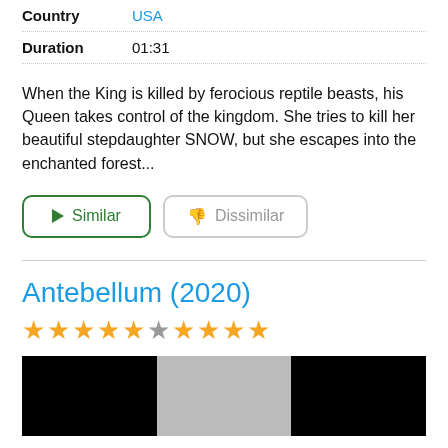| Field | Value |
| --- | --- |
| Country | USA |
| Duration | 01:31 |
When the King is killed by ferocious reptile beasts, his Queen takes control of the kingdom. She tries to kill her beautiful stepdaughter SNOW, but she escapes into the enchanted forest...
Similar
Dissimilar
Antebellum (2020)
[Figure (other): Star rating: 5 filled gold stars, 1 empty gray star, 1 filled gold star, 3 filled gold stars — rating display for Antebellum (2020)]
[Figure (photo): Three movie stills: left black, center gray, right black]